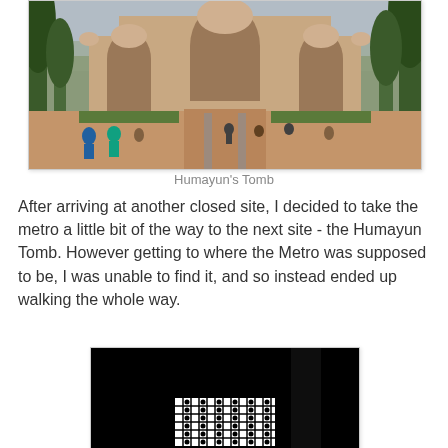[Figure (photo): Photograph of Humayun's Tomb in Delhi, India. Shows the grand red sandstone Mughal architecture with arched facade, minarets, trees on either side, and visitors walking in the foreground garden path.]
Humayun's Tomb
After arriving at another closed site, I decided to take the metro a little bit of the way to the next site - the Humayun Tomb. However getting to where the Metro was supposed to be, I was unable to find it, and so instead ended up walking the whole way.
[Figure (photo): Close-up photograph of an ornate stone lattice window (jali) at Humayun's Tomb. The image is predominantly dark/black with the intricate geometric and floral white stone lattice pattern visible, showing a domed top section and rectangular lower section with Islamic geometric patterns.]